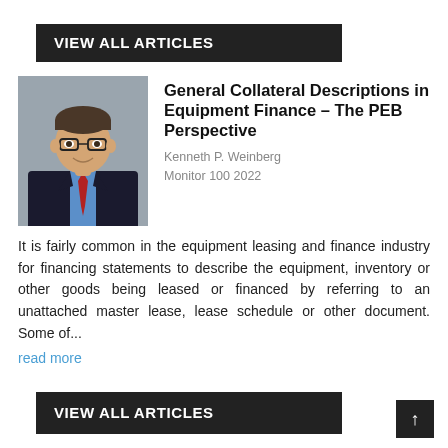VIEW ALL ARTICLES
General Collateral Descriptions in Equipment Finance – The PEB Perspective
Kenneth P. Weinberg
Monitor 100 2022
[Figure (photo): Professional headshot of Kenneth P. Weinberg, a man in a dark suit with a red tie and glasses, smiling, against a grey background.]
It is fairly common in the equipment leasing and finance industry for financing statements to describe the equipment, inventory or other goods being leased or financed by referring to an unattached master lease, lease schedule or other document. Some of...
read more
VIEW ALL ARTICLES